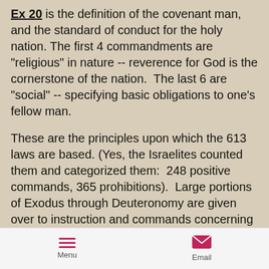Ex 20 is the definition of the covenant man, and the standard of conduct for the holy nation. The first 4 commandments are "religious" in nature -- reverence for God is the cornerstone of the nation.  The last 6 are "social" -- specifying basic obligations to one's fellow man.
These are the principles upon which the 613 laws are based. (Yes, the Israelites counted them and categorized them:  248 positive commands, 365 prohibitions).  Large portions of Exodus through Deuteronomy are given over to instruction and commands concerning rules of worship and life in the new Israel.  We shall "pass over" most of
Menu  Email